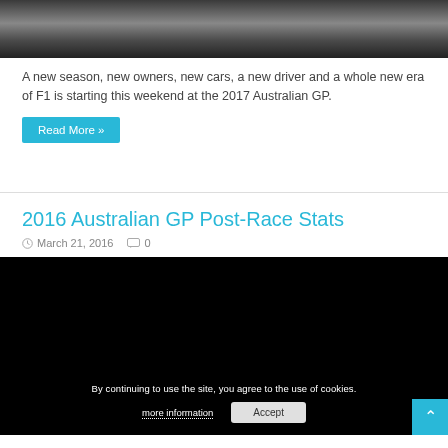[Figure (photo): Dark photo showing what appears to be F1 car components on a grey background, partially visible at the top of the page.]
A new season, new owners, new cars, a new driver and a whole new era of F1 is starting this weekend at the 2017 Australian GP.
Read More »
2016 Australian GP Post-Race Stats
March 21, 2016   0
[Figure (screenshot): Black video player area with a cookie consent bar overlay at the bottom reading: By continuing to use the site, you agree to the use of cookies. with links for more information and an Accept button.]